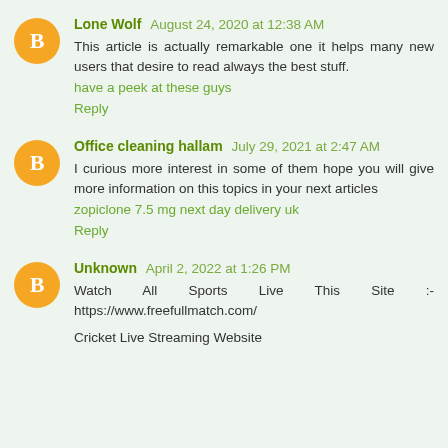Lone Wolf August 24, 2020 at 12:38 AM
This article is actually remarkable one it helps many new users that desire to read always the best stuff.
have a peek at these guys
Reply
Office cleaning hallam July 29, 2021 at 2:47 AM
I curious more interest in some of them hope you will give more information on this topics in your next articles
zopiclone 7.5 mg next day delivery uk
Reply
Unknown April 2, 2022 at 1:26 PM
Watch All Sports Live This Site :- https://www.freefullmatch.com/
Cricket Live Streaming Website